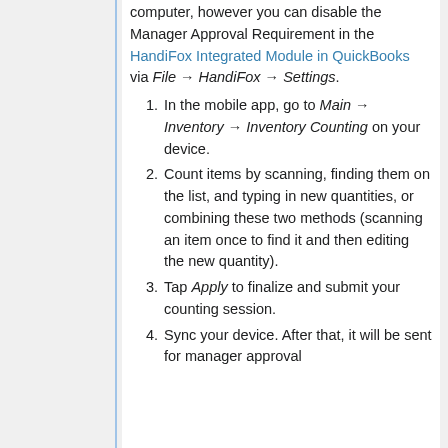computer, however you can disable the Manager Approval Requirement in the HandiFox Integrated Module in QuickBooks via File → HandiFox → Settings.
In the mobile app, go to Main → Inventory → Inventory Counting on your device.
Count items by scanning, finding them on the list, and typing in new quantities, or combining these two methods (scanning an item once to find it and then editing the new quantity).
Tap Apply to finalize and submit your counting session.
Sync your device. After that, it will be sent for manager approval